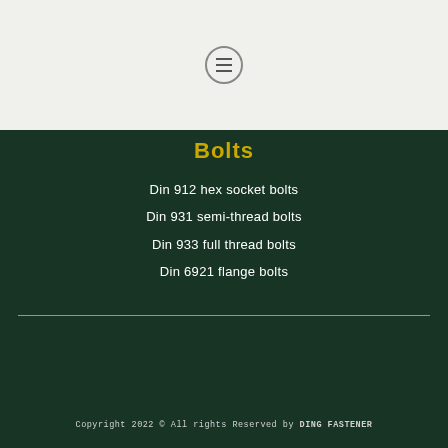[Figure (other): Menu hamburger icon button — circular border with three horizontal lines, on a light gray background]
Bolts
Din 912 hex socket bolts
Din 931 semi-thread bolts
Din 933 full thread bolts
Din 6921 flange bolts
Copyright 2022 © All rights Reserved by DING FASTENER